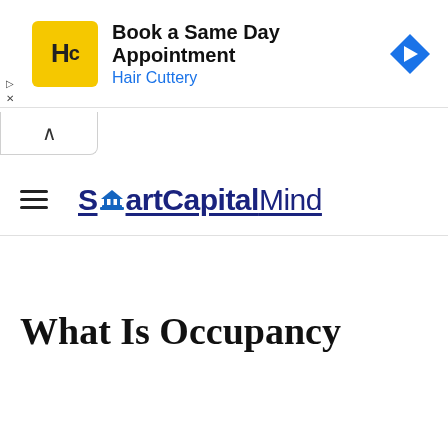[Figure (screenshot): Hair Cuttery advertisement banner with yellow HC logo, text 'Book a Same Day Appointment' and 'Hair Cuttery' in blue, and a blue navigation arrow icon on the right. Small play and X controls on the left.]
[Figure (screenshot): Collapse/chevron up button tab below the ad banner]
[Figure (logo): SmartCapitalMind logo with hamburger menu icon on the left. The logo shows 'S' with a small building/capitol icon, 'artCapitalMind' in dark navy, underlined.]
What Is Occupancy